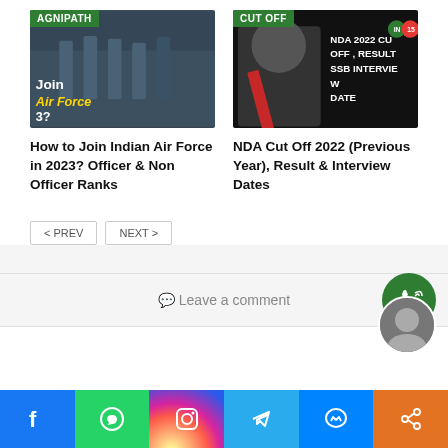[Figure (screenshot): Thumbnail image for 'How to Join Indian Air Force in 2023?' article with AGNIPATH badge, showing military personnel in blue uniforms with text 'Join Air Force 3?']
[Figure (screenshot): Thumbnail image for NDA Cut Off 2022 article with CUT OFF badge, showing military cadet with text 'NDA 2022 CUT OFF, RESULT SSB INTERVIEW DATE']
How to Join Indian Air Force in 2023? Officer & Non Officer Ranks
NDA Cut Off 2022 (Previous Year), Result & Interview Dates
< PREV
NEXT >
Leave a comment
[Figure (other): Social media share bar with Facebook, WhatsApp, Instagram, Telegram, Messenger, and Share icons]